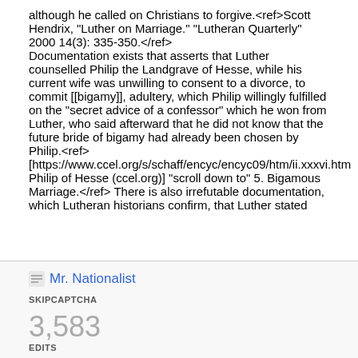although he called on Christians to forgive.<ref>Scott Hendrix, "Luther on Marriage." "Lutheran Quarterly" 2000 14(3): 335-350.</ref> Documentation exists that asserts that Luther counselled Philip the Landgrave of Hesse, while his current wife was unwilling to consent to a divorce, to commit [[bigamy]], adultery, which Philip willingly fulfilled on the "secret advice of a confessor" which he won from Luther, who said afterward that he did not know that the future bride of bigamy had already been chosen by Philip.<ref> [https://www.ccel.org/s/schaff/encyc/encyc09/htm/ii.xxxvi.htm Philip of Hesse (ccel.org)] "scroll down to" 5. Bigamous Marriage.</ref> There is also irrefutable documentation, which Lutheran historians confirm, that Luther stated
Mr. Nationalist
SKIPCAPTCHA
3,583
EDITS